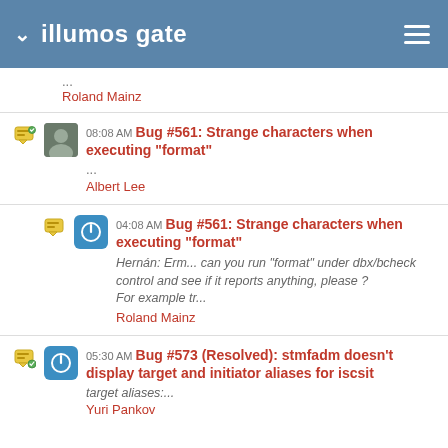illumos gate
... Roland Mainz
08:08 AM Bug #561: Strange characters when executing "format" ... Albert Lee
04:08 AM Bug #561: Strange characters when executing "format" Hernán: Erm... can you run "format" under dbx/bcheck control and see if it reports anything, please ? For example tr... Roland Mainz
05:30 AM Bug #573 (Resolved): stmfadm doesn't display target and initiator aliases for iscsit target aliases:... Yuri Pankov